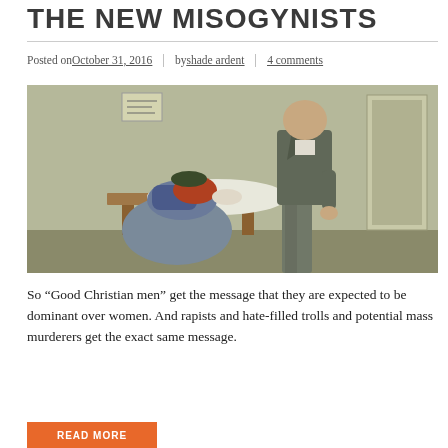THE NEW MISOGYNISTS
Posted on October 31, 2016 | by shade ardent | 4 comments
[Figure (illustration): Historical illustration showing a woman slumped over a desk or table, dressed in early 20th century clothing, with a tall man in a suit standing beside her in an authoritative posture. The setting appears to be an office or workplace interior.]
So “Good Christian men” get the message that they are expected to be dominant over women. And rapists and hate-filled trolls and potential mass murderers get the exact same message.